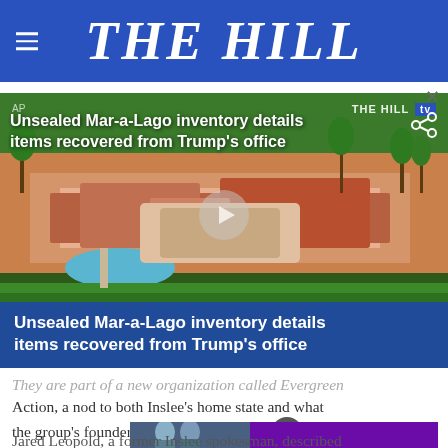THE HILL
[Figure (screenshot): Aerial photo of Mar-a-Lago estate with video overlay showing title 'Unsealed Mar-a-Lago inventory details items recovered from Trump's office', with THE HILL tv badge, AP tag, play button, and bottom blue banner repeating the title.]
They are part of a new organization called Evergreen Action, a nod to both Inslee's home state and what the group's founders see as the durability of the propo[sal]
[Figure (photo): Two people standing together, overlaid on purple/magenta advertisement background]
Jared Leopold, a former Inslee spokesman, described